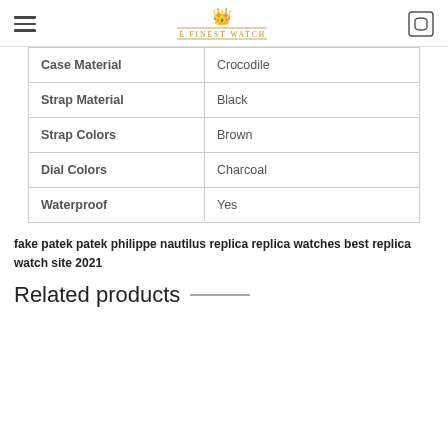THE FINEST WATCHES
| Case Material | Crocodile |
| Strap Material | Black |
| Strap Colors | Brown |
| Dial Colors | Charcoal |
| Waterproof | Yes |
fake patek patek philippe nautilus replica replica watches best replica watch site 2021
Related products